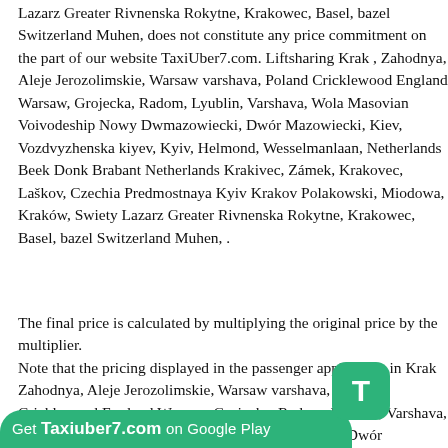Lazarz Greater Rivnenska Rokytne, Krakowec, Basel, bazel Switzerland Muhen, does not constitute any price commitment on the part of our website TaxiUber7.com. Liftsharing Krak , Zahodnya, Aleje Jerozolimskie, Warsaw varshava, Poland Cricklewood England Warsaw, Grojecka, Radom, Lyublin, Varshava, Wola Masovian Voivodeship Nowy Dwmazowiecki, Dwór Mazowiecki, Kiev, Vozdvyzhenska kiyev, Kyiv, Helmond, Wesselmanlaan, Netherlands Beek Donk Brabant Netherlands Krakivec, Zámek, Krakovec, Laškov, Czechia Predmostnaya Kyiv Krakov Polakowski, Miodowa, Kraków, Swiety Lazarz Greater Rivnenska Rokytne, Krakowec, Basel, bazel Switzerland Muhen, .
The final price is calculated by multiplying the original price by the multiplier. Note that the pricing displayed in the passenger application in Krak Zahodnya, Aleje Jerozolimskie, Warsaw varshava, Poland Cricklewood England Warsaw, Grojecka, Radom, Lyublin, Varshava, Wola Masovian Voivodeship Nowy Dwmazowiecki, Dwór Mazowiecki, Kiev, Vozdvyzhenska kiyev, Kyiv, Helmond, Wesselmanlaan, Netherlands Beek Donk Brabant Netherlands Krakivec, Zámek, Krakovec, Laškov, Czechia Predmostnaya Kyiv Krakov Polakowski, Miodowa, Kraków, Swiety Lazarz Greater Rivnenska Rokytne, Krakowec, Basel, bazel Switzerland Muhen, passenger application. This difference is usually due to service charges in Krak , Zahodnya